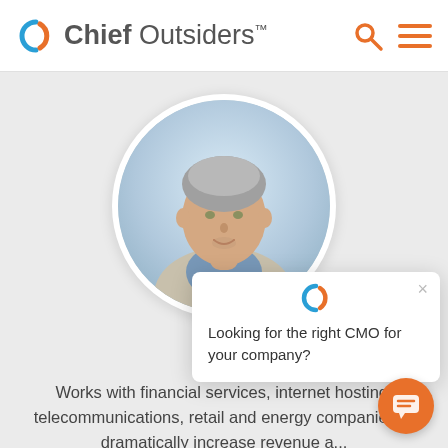Chief Outsiders
[Figure (photo): Circular profile photo of a middle-aged man with gray hair, wearing a blue shirt and light blazer, against a soft blue background]
MAT
Par
[Figure (other): Popup overlay card with Chief Outsiders logo and text: Looking for the right CMO for your company?]
Works with financial services, internet hosting, telecommunications, retail and energy companies to dramatically increase revenue a...